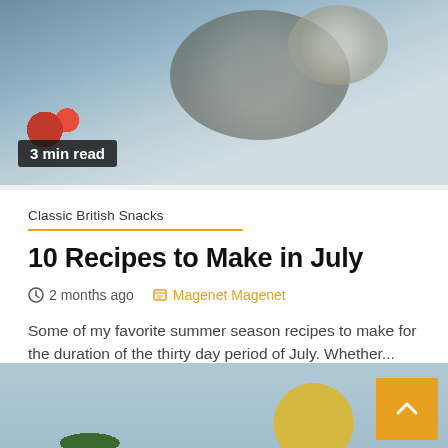[Figure (photo): Top-down photo of food/snacks on a table with cast iron pan and napkins, with a '3 min read' badge overlay]
3 min read
Classic British Snacks
10 Recipes to Make in July
2 months ago   Magenet Magenet
Some of my favorite summer season recipes to make for the duration of the thirty day period of July. Whether...
[Figure (photo): Colorful food bowl with avocado, salmon, rice, seaweed and vegetables on a light blue background with yellow cloth]